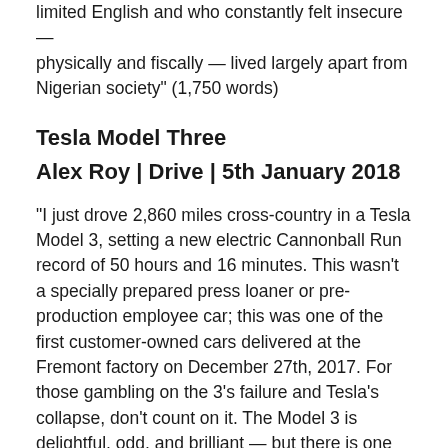limited English and who constantly felt insecure — physically and fiscally — lived largely apart from Nigerian society" (1,750 words)
Tesla Model Three
Alex Roy | Drive | 5th January 2018
“I just drove 2,860 miles cross-country in a Tesla Model 3, setting a new electric Cannonball Run record of 50 hours and 16 minutes. This wasn't a specially prepared press loaner or pre-production employee car; this was one of the first customer-owned cars delivered at the Fremont factory on December 27th, 2017. For those gambling on the 3’s failure and Tesla’s collapse, don’t count on it. The Model 3 is delightful, odd, and brilliant — but there is one big, crackling bolt of a caveat” (4,200 words)